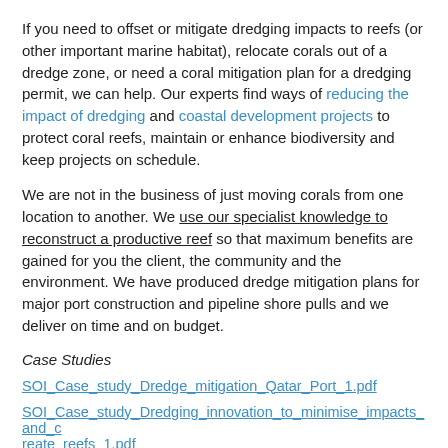If you need to offset or mitigate dredging impacts to reefs (or other important marine habitat), relocate corals out of a dredge zone, or need a coral mitigation plan for a dredging permit, we can help. Our experts find ways of reducing the impact of dredging and coastal development projects to protect coral reefs, maintain or enhance biodiversity and keep projects on schedule.
We are not in the business of just moving corals from one location to another. We use our specialist knowledge to reconstruct a productive reef so that maximum benefits are gained for you the client, the community and the environment. We have produced dredge mitigation plans for major port construction and pipeline shore pulls and we deliver on time and on budget.
Case Studies
SOI_Case_study_Dredge_mitigation_Qatar_Port_1.pdf
SOI_Case_study_Dredging_innovation_to_minimise_impacts_and_create_reefs_1.pdf